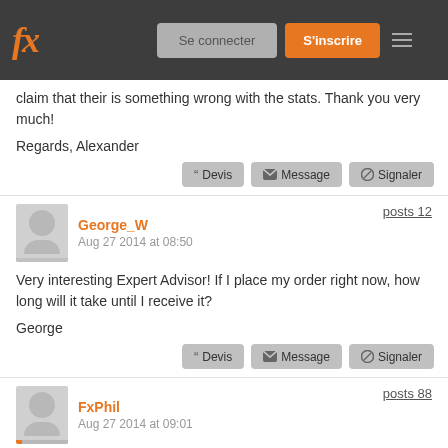fx | Se connecter | S'inscrire
claim that their is something wrong with the stats. Thank you very much!
Regards, Alexander
Devis | Message | Signaler
George_W
Aug 27 2014 at 08:50
posts 12
Very interesting Expert Advisor! If I place my order right now, how long will it take until I receive it?
George
Devis | Message | Signaler
FxPhil
Aug 27 2014 at 09:01
posts 88
Hi Alexander,